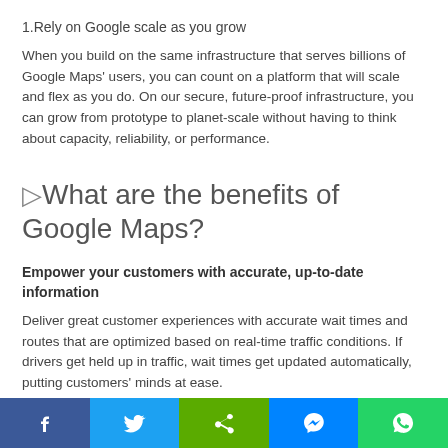1.Rely on Google scale as you grow
When you build on the same infrastructure that serves billions of Google Maps' users, you can count on a platform that will scale and flex as you do. On our secure, future-proof infrastructure, you can grow from prototype to planet-scale without having to think about capacity, reliability, or performance.
▷What are the benefits of Google Maps?
Empower your customers with accurate, up-to-date information
Deliver great customer experiences with accurate wait times and routes that are optimized based on real-time traffic conditions. If drivers get held up in traffic, wait times get updated automatically, putting customers' minds at ease.
[Figure (infographic): Social media sharing bar with Facebook, Twitter, Share, Messenger, and WhatsApp buttons]